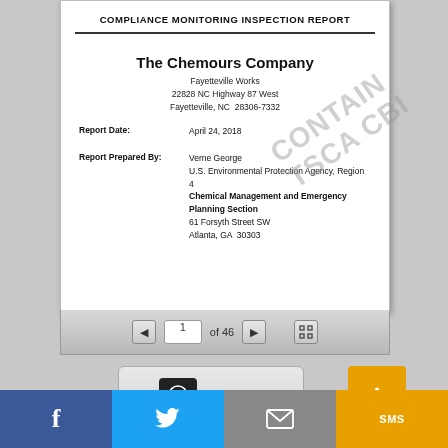COMPLIANCE MONITORING INSPECTION REPORT
The Chemours Company
Fayetteville Works
22828 NC Highway 87 West
Fayetteville, NC  28306-7332
Report Date:	April 24, 2018
Report Prepared By:	Verne George
U.S. Environmental Protection Agency, Region 4
Chemical Management and Emergency Planning Section
61 Forsyth Street SW
Atlanta, GA  30303
[Figure (other): Diagonal watermark text reading 'CONTAIN TSCA CBI']
1 of 46
Republish
f
SMS